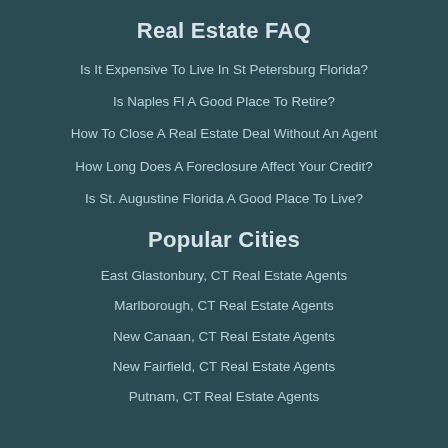Real Estate FAQ
Is It Expensive To Live In St Petersburg Florida?
Is Naples Fl A Good Place To Retire?
How To Close A Real Estate Deal Without An Agent
How Long Does A Foreclosure Affect Your Credit?
Is St. Augustine Florida A Good Place To Live?
Popular Cities
East Glastonbury, CT Real Estate Agents
Marlborough, CT Real Estate Agents
New Canaan, CT Real Estate Agents
New Fairfield, CT Real Estate Agents
Putnam, CT Real Estate Agents